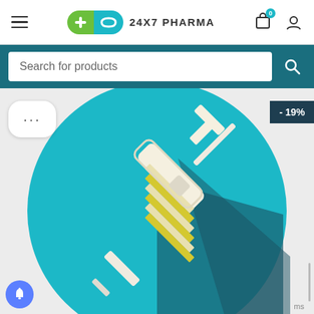24x7 PHARMA - navigation header with hamburger menu, logo, cart and user icons
Search for products
[Figure (screenshot): Mobile pharmacy website screenshot showing 24x7 PHARMA header, search bar, and a product listing with a teal circle containing an illustrated syringe/injection with yellow stripes, showing a -19% discount badge]
- 19%